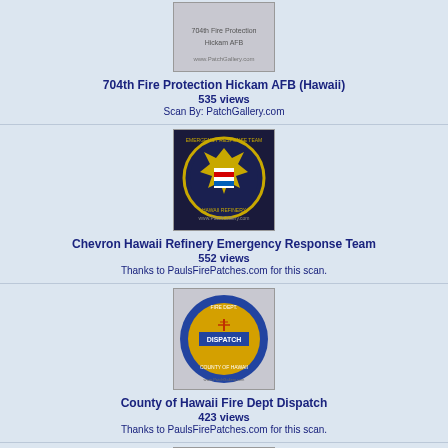[Figure (photo): 704th Fire Protection Hickam AFB (Hawaii) patch - partial view at top]
704th Fire Protection Hickam AFB (Hawaii)
535 views
Scan By: PatchGallery.com
[Figure (photo): Chevron Hawaii Refinery Emergency Response Team circular patch on dark background with gold Maltese cross]
Chevron Hawaii Refinery Emergency Response Team
552 views
Thanks to PaulsFirePatches.com for this scan.
[Figure (photo): County of Hawaii Fire Dept Dispatch circular patch with blue border and orange/gold center showing dispatch tower]
County of Hawaii Fire Dept Dispatch
423 views
Thanks to PaulsFirePatches.com for this scan.
[Figure (photo): Department of Transportation patch - partial view at bottom]